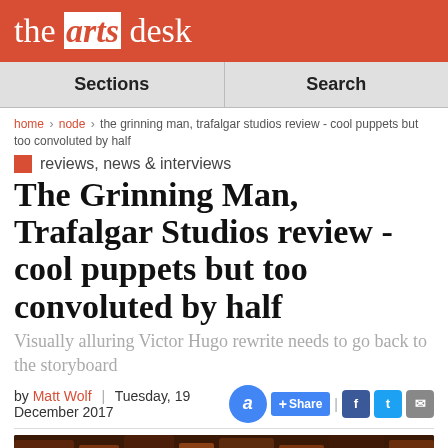the arts desk
Sections | Search
home > node > the grinning man, trafalgar studios review - cool puppets but too convoluted by half
reviews, news & interviews
The Grinning Man, Trafalgar Studios review - cool puppets but too convoluted by half
Visually alluring Victor Hugo rewrite needs to go back to the storyboard
by Matt Wolf | Tuesday, 19 December 2017
[Figure (photo): Dark theatrical image, appears to be a stage set with wooden/carved lettering in dark tones]